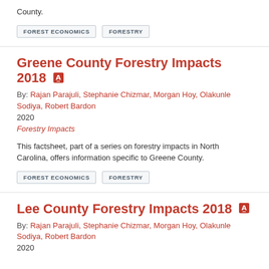County.
FOREST ECONOMICS   FORESTRY
Greene County Forestry Impacts 2018
By: Rajan Parajuli, Stephanie Chizmar, Morgan Hoy, Olakunle Sodiya, Robert Bardon
2020
Forestry Impacts
This factsheet, part of a series on forestry impacts in North Carolina, offers information specific to Greene County.
FOREST ECONOMICS   FORESTRY
Lee County Forestry Impacts 2018
By: Rajan Parajuli, Stephanie Chizmar, Morgan Hoy, Olakunle Sodiya, Robert Bardon
2020